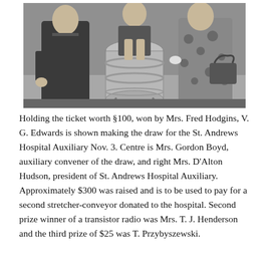[Figure (photo): Black and white photograph of three people around a large barrel drum used for a prize draw. A man on the left in a dark suit, a person in the centre reaching into the barrel, and a woman on the right in a patterned coat holding a handbag.]
Holding the ticket worth §100, won by Mrs. Fred Hodgins, V. G. Edwards is shown making the draw for the St. Andrews Hospital Auxiliary Nov. 3. Centre is Mrs. Gordon Boyd, auxiliary convener of the draw, and right Mrs. D'Alton Hudson, president of St. Andrews Hospital Auxiliary. Approximately $300 was raised and is to be used to pay for a second stretcher-conveyor donated to the hospital. Second prize winner of a transistor radio was Mrs. T. J. Henderson and the third prize of $25 was T. Przybyszewski.